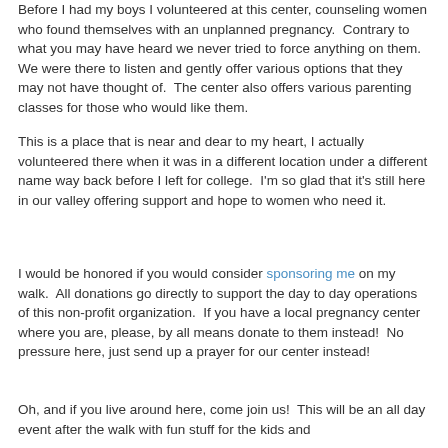Before I had my boys I volunteered at this center, counseling women who found themselves with an unplanned pregnancy. Contrary to what you may have heard we never tried to force anything on them. We were there to listen and gently offer various options that they may not have thought of. The center also offers various parenting classes for those who would like them.
This is a place that is near and dear to my heart, I actually volunteered there when it was in a different location under a different name way back before I left for college. I'm so glad that it's still here in our valley offering support and hope to women who need it.
I would be honored if you would consider sponsoring me on my walk. All donations go directly to support the day to day operations of this non-profit organization. If you have a local pregnancy center where you are, please, by all means donate to them instead! No pressure here, just send up a prayer for our center instead!
Oh, and if you live around here, come join us! This will be an all day event after the walk with fun stuff for the kids and...